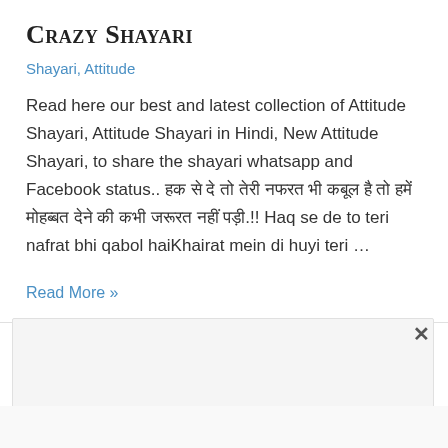Crazy Shayari
Shayari, Attitude
Read here our best and latest collection of Attitude Shayari, Attitude Shayari in Hindi, New Attitude Shayari, to share the shayari whatsapp and Facebook status.. हक से दे तो तेरी नफरत भी कबूल हैKhairat mein di huyi teri … Haq se de to teri nafrat bhi qabol haiKhairat mein di huyi teri …
Read More »
[Figure (other): Advertisement/close box area at bottom of page]